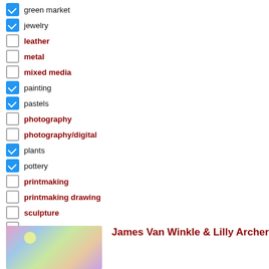☑ green market
☑ jewelry
☐ leather
☐ metal
☐ mixed media
☑ painting
☑ pastels
☐ photography
☐ photography/digital
☑ plants
☑ pottery
☐ printmaking
☐ printmaking drawing
☐ sculpture
☐ soaps & lotions
☑ stone
☐ wood
[Figure (photo): Colorful abstract painting with pink, blue, green hues and yellow dots]
James Van Winkle & Lilly Archer